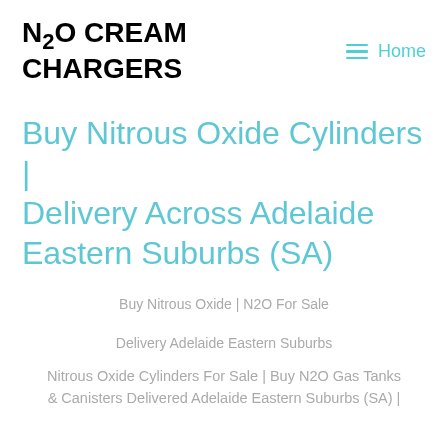N2O CREAM CHARGERS
Home
Buy Nitrous Oxide Cylinders | Delivery Across Adelaide Eastern Suburbs (SA)
Buy Nitrous Oxide | N2O For Sale
Delivery Adelaide Eastern Suburbs
Nitrous Oxide Cylinders For Sale | Buy N2O Gas Tanks & Canisters Delivered Adelaide Eastern Suburbs (SA) |